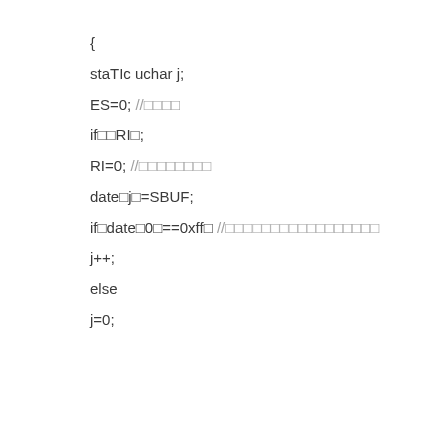{

staTIc uchar j;

ES=0; //□□□□

if□□RI□;

RI=0; //□□□□□□□□

date□j□=SBUF;

if□date□0□==0xff□ //□□□□□□□□□□□□□□□□□

j++;

else

j=0;